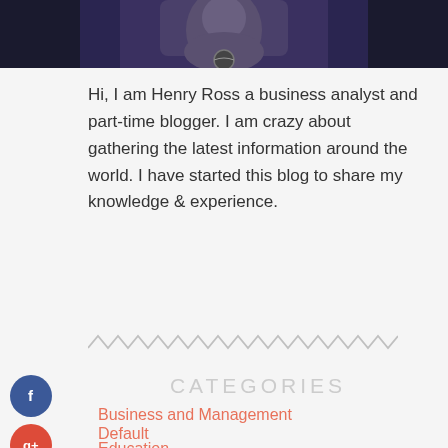[Figure (photo): Cropped portrait photo of a person, shown from neck up against dark background]
Hi, I am Henry Ross a business analyst and part-time blogger. I am crazy about gathering the latest information around the world. I have started this blog to share my knowledge & experience.
[Figure (illustration): Zigzag/wavy decorative divider line in light gray]
CATEGORIES
Business and Management
Default
Education
Health and Fitness
Home and Garden